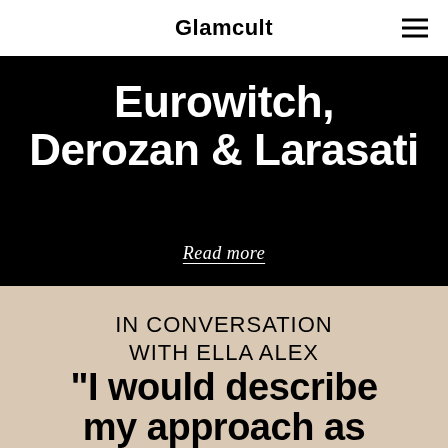Glamcult
Eurowitch, Derozan & Larasati
Read more
IN CONVERSATION WITH ELLA ALEX
"I would describe my approach as